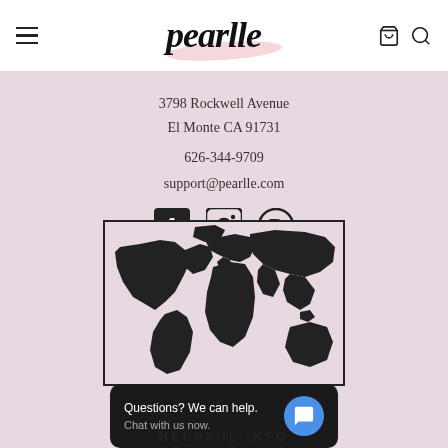[Figure (logo): Pearlle brand logo in cursive script with pink brush stroke underneath]
3798 Rockwell Avenue
El Monte CA 91731
626-344-9709
support@pearlle.com
[Figure (illustration): Social media icons: Facebook, Instagram, Pinterest]
[Figure (map): World map silhouette in dark color on pink background, inside a bordered box]
[Figure (screenshot): Chat widget with text 'Questions? We can help. Chat with us now.' and a blue chat bubble icon]
HELPFUL INFO